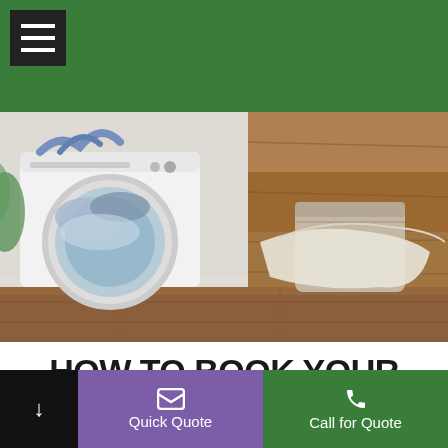Navigation bar with hamburger menu
[Figure (photo): Laundry room scene with an open washing machine filled with clothes and a wicker laundry basket with a cream towel draped over it, on a wooden floor]
HOW TO BOOK YOUR HOME CLEAN FOR THE TOWNHILL AREA
[Figure (illustration): Green calendar icon with grid of squares representing booking dates]
Quick Quote | Call for Quote